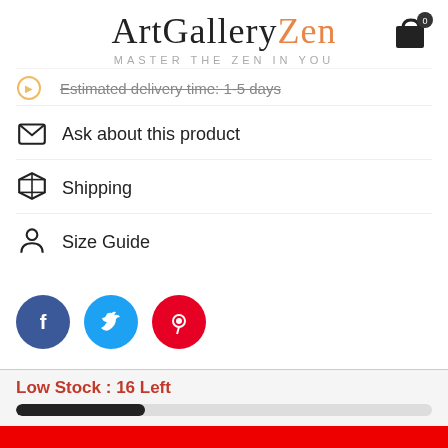ArtGalleryZen — MASTER THE ZEN IN YOU
Estimated delivery time: 1-5 days
Ask about this product
Shipping
Size Guide
[Figure (infographic): Social share buttons: Facebook (blue), Twitter (light blue), Pinterest (red)]
Low Stock : 16 Left
ADD TO CART
BUY IT NOW